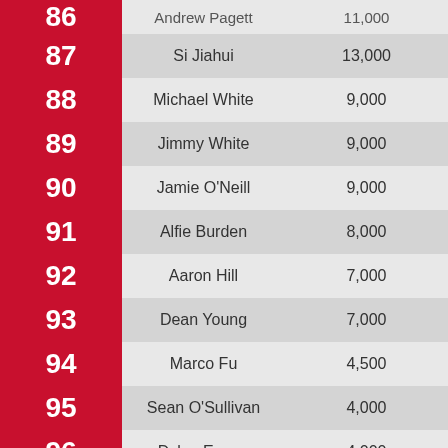| Rank | Name | Prize |
| --- | --- | --- |
| 86 | Andrew Pagett | 11,000 |
| 87 | Si Jiahui | 13,000 |
| 88 | Michael White | 9,000 |
| 89 | Jimmy White | 9,000 |
| 90 | Jamie O'Neill | 9,000 |
| 91 | Alfie Burden | 8,000 |
| 92 | Aaron Hill | 7,000 |
| 93 | Dean Young | 7,000 |
| 94 | Marco Fu | 4,500 |
| 95 | Sean O'Sullivan | 4,000 |
| 96 | Dylan Emery | 4,000 |